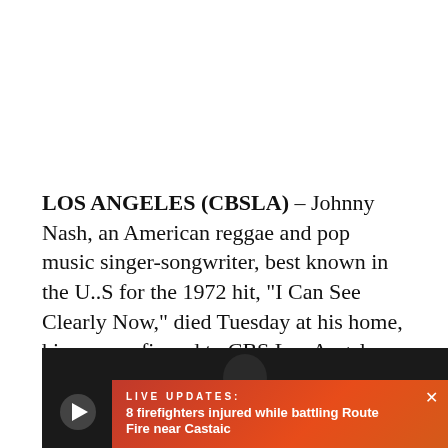LOS ANGELES (CBSLA) – Johnny Nash, an American reggae and pop music singer-songwriter, best known in the U..S for the 1972 hit, "I Can See Clearly Now," died Tuesday at his home, his son confirmed to CBS Los Angeles. He was 80.
[Figure (screenshot): Video player thumbnail showing a dark silhouette of a person with a play button overlay, and a red breaking news bar at the bottom reading 'LIVE UPDATES: 8 firefighters injured while battling Route Fire near Castaic']